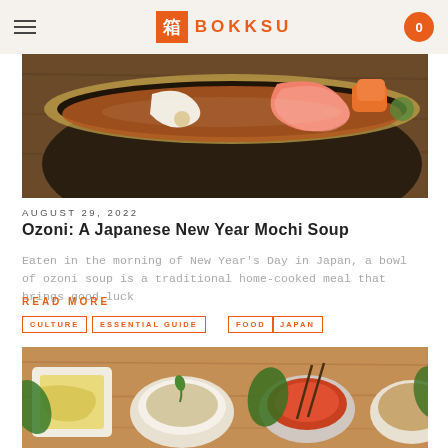BOKKSU
[Figure (photo): Close-up of a dark ceramic bowl containing ozoni soup with shrimp, carrots, and other vegetables on a wooden surface]
AUGUST 29, 2022
Ozoni: A Japanese New Year Mochi Soup
Eaten in the morning of New Year's Day in Japan, a bowl of ozoni soup is a traditional home-cooked meal that brings good luck
READ MORE
CULTURE
ESSENTIAL GUIDE
FOOD
JAPAN
[Figure (photo): Overhead view of multiple Japanese dishes including rice bowls and side dishes arranged on a wooden table with green leaves]